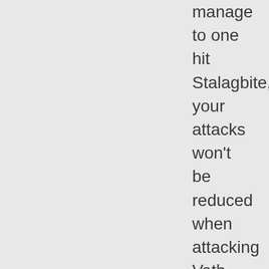manage to one hit Stalagbite, your attacks won't be reduced when attacking Vath.
If you attack Vath first, Stalagbite will use "Stomp" on you and every attack does